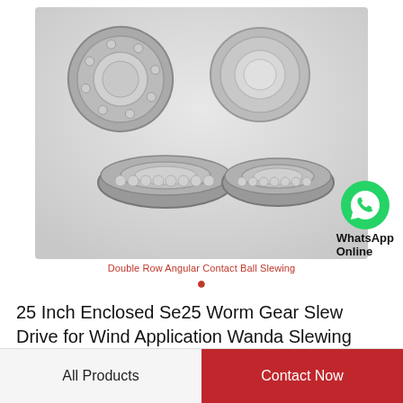[Figure (photo): Four metallic double row angular contact ball slewing bearings of different sizes and orientations on a light gray background]
Double Row Angular Contact Ball Slewing
25 Inch Enclosed Se25 Worm Gear Slew Drive for Wind Application Wanda Slewing Drive
All Products
Contact Now